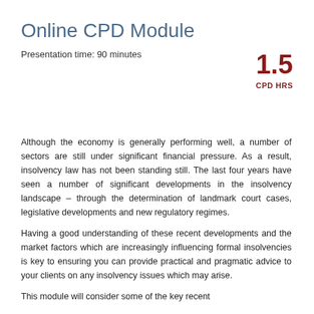Online CPD Module
Presentation time: 90 minutes
1.5
CPD HRS
Although the economy is generally performing well, a number of sectors are still under significant financial pressure. As a result, insolvency law has not been standing still. The last four years have seen a number of significant developments in the insolvency landscape – through the determination of landmark court cases, legislative developments and new regulatory regimes.
Having a good understanding of these recent developments and the market factors which are increasingly influencing formal insolvencies is key to ensuring you can provide practical and pragmatic advice to your clients on any insolvency issues which may arise.
This module will consider some of the key recent